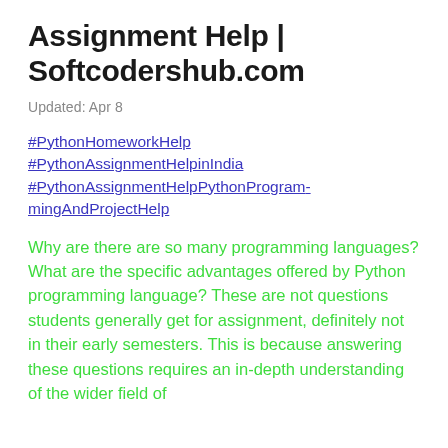Assignment Help | Softcodershub.com
Updated: Apr 8
#PythonHomeworkHelp
#PythonAssignmentHelpinIndia
#PythonAssignmentHelpPythonProgrammingAndProjectHelp
Why are there are so many programming languages? What are the specific advantages offered by Python programming language? These are not questions students generally get for assignment, definitely not in their early semesters. This is because answering these questions requires an in-depth understanding of the wider field of